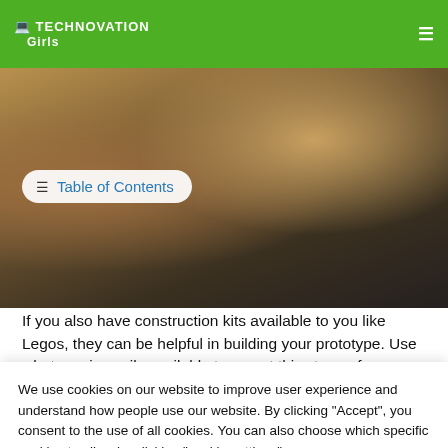TECHNOVATION Girls
[Figure (photo): Workshop scene showing a cardboard prototype robot/device on a dark floor with white papers/blueprints spread out nearby]
≡ Table of Contents
If you also have construction kits available to you like Legos, they can be helpful in building your prototype. Use whatever is easily available to you at this stage of your project.
We use cookies on our website to improve user experience and understand how people use our website. By clicking "Accept", you consent to the use of all cookies. You can also choose which specific cookies to allow by clicking "cookie settings".